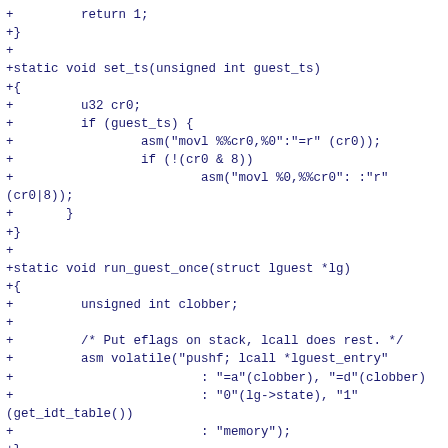+         return 1;
+}
+
+static void set_ts(unsigned int guest_ts)
+{
+         u32 cr0;
+         if (guest_ts) {
+                 asm("movl %%cr0,%0":"=r" (cr0));
+                 if (!(cr0 & 8))
+                         asm("movl %0,%%cr0": :"r"
(cr0|8));
+       }
+}
+
+static void run_guest_once(struct lguest *lg)
+{
+         unsigned int clobber;
+
+         /* Put eflags on stack, lcall does rest. */
+         asm volatile("pushf; lcall *lguest_entry"
+                         : "=a"(clobber), "=d"(clobber)
+                         : "0"(lg->state), "1"
(get_idt_table())
+                         : "memory");
+}
+
+int run_guest(struct lguest *lg, char *__user user)
+{
+         struct lguest_regs *regs = &lg->state->regs;
+